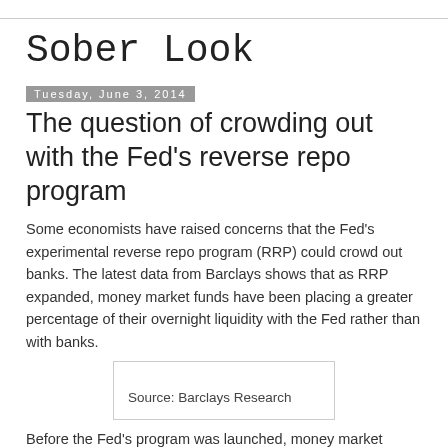Sober Look
Tuesday, June 3, 2014
The question of crowding out with the Fed's reverse repo program
Some economists have raised concerns that the Fed's experimental reverse repo program (RRP) could crowd out banks. The latest data from Barclays shows that as RRP expanded, money market funds have been placing a greater percentage of their overnight liquidity with the Fed rather than with banks.
[Figure (other): Source box: Source: Barclays Research]
Before the Fed's program was launched, money market funds would be put into the repo...